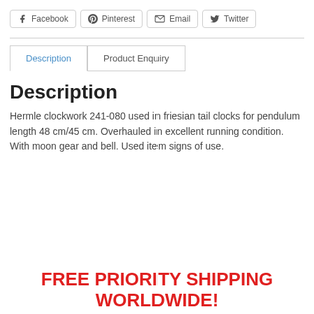Facebook | Pinterest | Email | Twitter
Description | Product Enquiry
Description
Hermle clockwork 241-080 used in friesian tail clocks for pendulum length 48 cm/45 cm. Overhauled in excellent running condition. With moon gear and bell. Used item signs of use.
FREE PRIORITY SHIPPING WORLDWIDE!